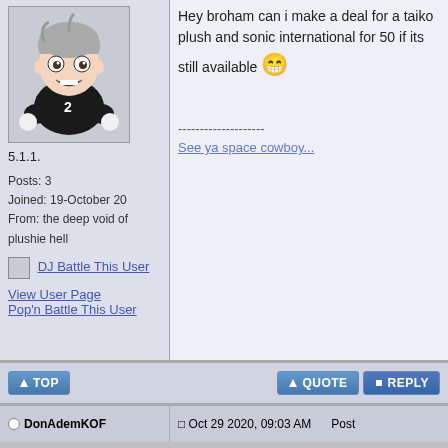[Figure (illustration): Avatar of an anime-style plush doll character wearing a black jersey with number 2, sitting pose with white hands, gray hair]
5.1.1.
Posts: 3
Joined: 19-October 20
From: the deep void of plushie hell
DJ Battle This User
View User Page
Pop'n Battle This User
Hey broham can i make a deal for a taiko plush and sonic international for 50 if its still available 😁
--------------------
See ya space cowboy...
TOP
QUOTE   REPLY
DonAdemKOF
Oct 29 2020, 09:03 AM
Post